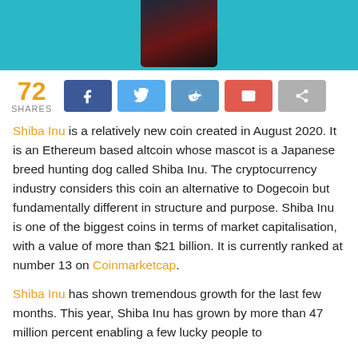[Figure (photo): Hero image with teal/cyan background and a dark device/phone graphic in the center top]
72 SHARES [social share buttons: Facebook, Twitter, Reddit, Email, Share]
Shiba Inu is a relatively new coin created in August 2020. It is an Ethereum based altcoin whose mascot is a Japanese breed hunting dog called Shiba Inu. The cryptocurrency industry considers this coin an alternative to Dogecoin but fundamentally different in structure and purpose. Shiba Inu is one of the biggest coins in terms of market capitalisation, with a value of more than $21 billion. It is currently ranked at number 13 on Coinmarketcap.
Shiba Inu has shown tremendous growth for the last few months. This year, Shiba Inu has grown by more than 47 million percent enabling a few lucky people to